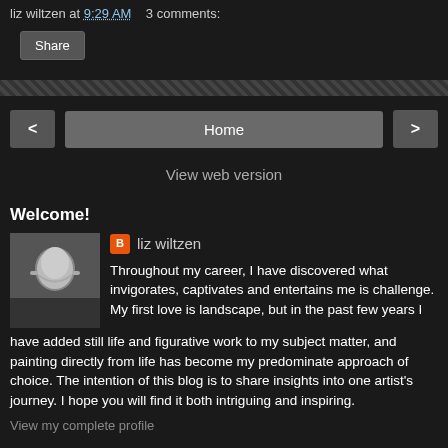liz wiltzen at 9:29 AM   3 comments:
Share
< Home >  View web version
Welcome!
liz wiltzen
Throughout my career, I have discovered what invigorates, captivates and entertains me is challenge. My first love is landscape, but in the past few years I have added still life and figurative work to my subject matter, and painting directly from life has become my predominate approach of choice. The intention of this blog is to share insights into one artist's journey. I hope you will find it both intriguing and inspiring.
View my complete profile
Powered by Blogger.